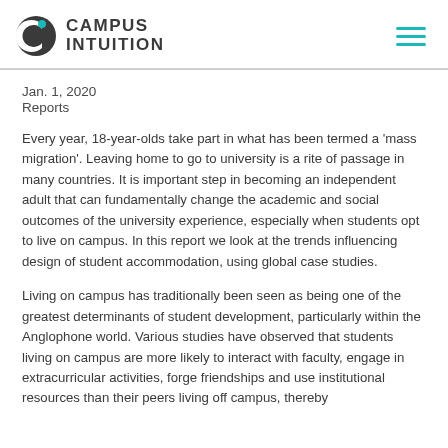Campus Intuition
Jan. 1, 2020
Reports
Every year, 18-year-olds take part in what has been termed a 'mass migration'. Leaving home to go to university is a rite of passage in many countries. It is important step in becoming an independent adult that can fundamentally change the academic and social outcomes of the university experience, especially when students opt to live on campus. In this report we look at the trends influencing design of student accommodation, using global case studies.
Living on campus has traditionally been seen as being one of the greatest determinants of student development, particularly within the Anglophone world. Various studies have observed that students living on campus are more likely to interact with faculty, engage in extracurricular activities, forge friendships and use institutional resources than their peers living off campus, thereby